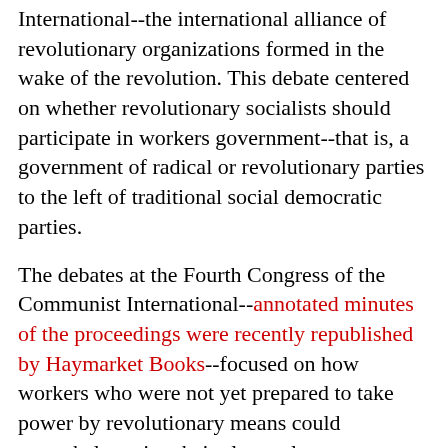International--the international alliance of revolutionary organizations formed in the wake of the revolution. This debate centered on whether revolutionary socialists should participate in workers government--that is, a government of radical or revolutionary parties to the left of traditional social democratic parties.
The debates at the Fourth Congress of the Communist International--annotated minutes of the proceedings were recently republished by Haymarket Books--focused on how workers who were not yet prepared to take power by revolutionary means could nevertheless give their electoral support to workers' parties. Antonis Davanellos, a leading figure in DEA and in SYRIZA's Left Platform, discussed the relevance of that debate in today's Greece:
The criteria for its program must be bound--mostly or exclusively--to the needs of the